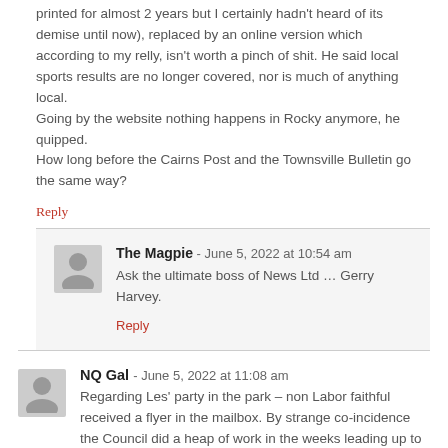printed for almost 2 years but I certainly hadn't heard of its demise until now), replaced by an online version which according to my relly, isn't worth a pinch of shit. He said local sports results are no longer covered, nor is much of anything local.
Going by the website nothing happens in Rocky anymore, he quipped.
How long before the Cairns Post and the Townsville Bulletin go the same way?
Reply
The Magpie - June 5, 2022 at 10:54 am
Ask the ultimate boss of News Ltd … Gerry Harvey.
Reply
NQ Gal - June 5, 2022 at 11:08 am
Regarding Les' party in the park – non Labor faithful received a flyer in the mailbox. By strange co-incidence the Council did a heap of work in the weeks leading up to the event. Not sure who he was trying to appeal to – most of